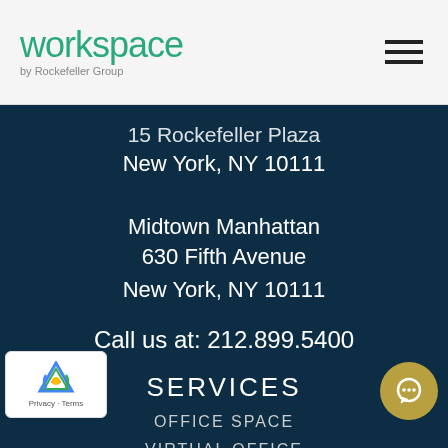workspace by Rockefeller Group
15 Rockefeller Plaza
New York, NY 10111
Midtown Manhattan
630 Fifth Avenue
New York, NY 10111
Call us at: 212.899.5400
SERVICES
OFFICE SPACE
VIRTUAL OFFICE
MEETING ROOMS